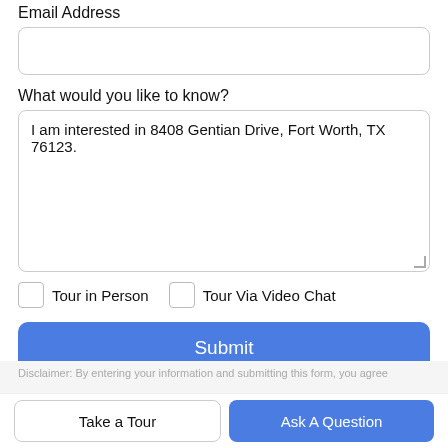Email Address
What would you like to know?
I am interested in 8408 Gentian Drive, Fort Worth, TX 76123.
Tour in Person
Tour Via Video Chat
Submit
Disclaimer: By entering your information and submitting this form, you agree...
Take a Tour
Ask A Question